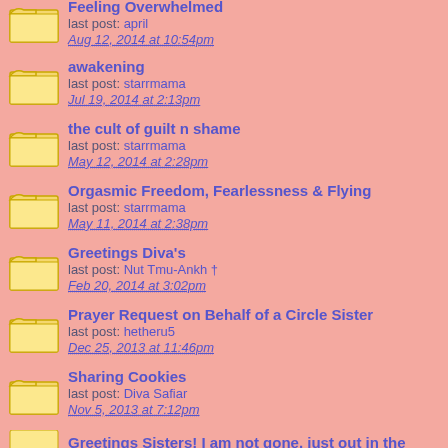Feeling Overwhelmed
last post: april
Aug 12, 2014 at 10:54pm
awakening
last post: starrmama
Jul 19, 2014 at 2:13pm
the cult of guilt n shame
last post: starrmama
May 12, 2014 at 2:28pm
Orgasmic Freedom, Fearlessness & Flying
last post: starrmama
May 11, 2014 at 2:38pm
Greetings Diva's
last post: Nut Tmu-Ankh †
Feb 20, 2014 at 3:02pm
Prayer Request on Behalf of a Circle Sister
last post: hetheru5
Dec 25, 2013 at 11:46pm
Sharing Cookies
last post: Diva Safiar
Nov 5, 2013 at 7:12pm
Greetings Sisters! I am not gone, just out in the world!!